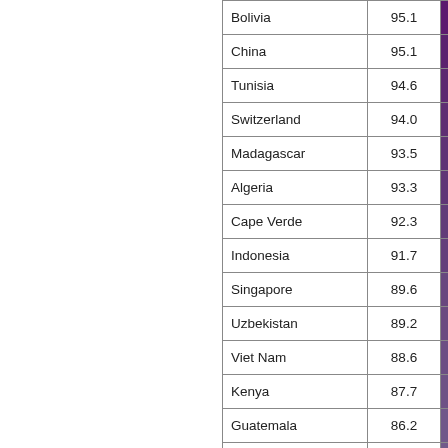| Country | Value |  |
| --- | --- | --- |
| Bolivia | 95.1 |  |
| China | 95.1 |  |
| Tunisia | 94.6 |  |
| Switzerland | 94.0 |  |
| Madagascar | 93.5 |  |
| Algeria | 93.3 |  |
| Cape Verde | 92.3 |  |
| Indonesia | 91.7 |  |
| Singapore | 89.6 |  |
| Uzbekistan | 89.2 |  |
| Viet Nam | 88.6 |  |
| Kenya | 87.7 |  |
| Guatemala | 86.2 |  |
| Zimbabwe | 86.1 |  |
| Turkey | 84.4 |  |
| Syria | 84.4 |  |
| Korea, Rep. | 84.2 |  |